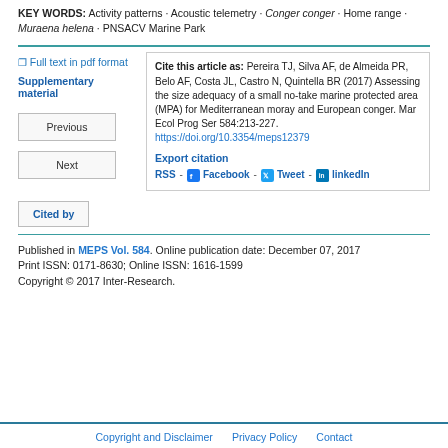KEY WORDS: Activity patterns · Acoustic telemetry · Conger conger · Home range · Muraena helena · PNSACV Marine Park
Full text in pdf format
Supplementary material
Previous
Next
Cite this article as: Pereira TJ, Silva AF, de Almeida PR, Belo AF, Costa JL, Castro N, Quintella BR (2017) Assessing the size adequacy of a small no-take marine protected area (MPA) for Mediterranean moray and European conger. Mar Ecol Prog Ser 584:213-227. https://doi.org/10.3354/meps12379
Export citation
RSS - Facebook - Tweet - linkedIn
Cited by
Published in MEPS Vol. 584. Online publication date: December 07, 2017
Print ISSN: 0171-8630; Online ISSN: 1616-1599
Copyright © 2017 Inter-Research.
Copyright and Disclaimer   Privacy Policy   Contact